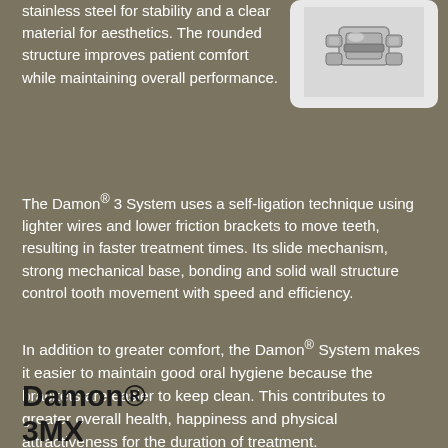stainless steel for stability and a clear material for aesthetics. The rounded structure improves patient comfort while maintaining overall performance.
[Figure (photo): Close-up photo of a dental orthodontic bracket/self-ligation bracket made of metal, shown on a light gray rounded-rectangle background.]
The Damon® 3 System uses a self-ligation technique using lighter wires and lower friction brackets to move teeth, resulting in faster treatment times. Its slide mechanism, strong mechanical base, bonding and solid wall structure control tooth movement with speed and efficiency.
In addition to greater comfort, the Damon® System makes it easier to maintain good oral hygiene because the brackets are easier to keep clean. This contributes to greater overall health, happiness and physical attractiveness for the duration of treatment.
Damon® 3MX